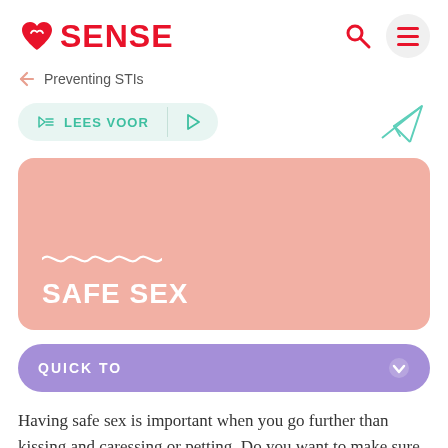SENSE
Preventing STIs
[Figure (illustration): Paper airplane icon in teal/mint color]
SAFE SEX
QUICK TO
Having safe sex is important when you go further than kissing and caressing or petting. Do you want to make sure you don't get any STIs or get pregnant? Then always have